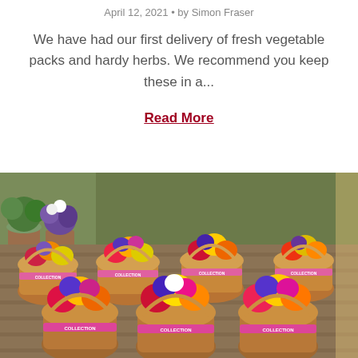April 12, 2021 • by Simon Fraser
We have had our first delivery of fresh vegetable packs and hardy herbs. We recommend you keep these in a...
Read More
[Figure (photo): Rows of colorful flower baskets with pink ribbon labels reading COLLECTION on a wooden bench in a garden center, with potted plants in the background.]